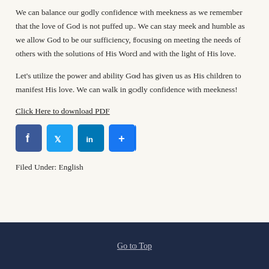We can balance our godly confidence with meekness as we remember that the love of God is not puffed up. We can stay meek and humble as we allow God to be our sufficiency, focusing on meeting the needs of others with the solutions of His Word and with the light of His love.
Let’s utilize the power and ability God has given us as His children to manifest His love. We can walk in godly confidence with meekness!
Click Here to download PDF
[Figure (other): Social media share buttons: Facebook, Twitter, LinkedIn, Share]
Filed Under: English
Go to Top